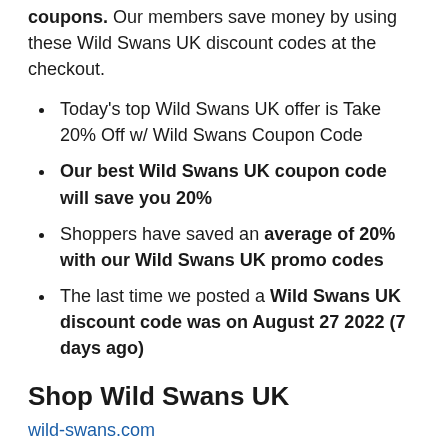coupons. Our members save money by using these Wild Swans UK discount codes at the checkout.
Today's top Wild Swans UK offer is Take 20% Off w/ Wild Swans Coupon Code
Our best Wild Swans UK coupon code will save you 20%
Shoppers have saved an average of 20% with our Wild Swans UK promo codes
The last time we posted a Wild Swans UK discount code was on August 27 2022 (7 days ago)
Shop Wild Swans UK
wild-swans.com
Related Categories